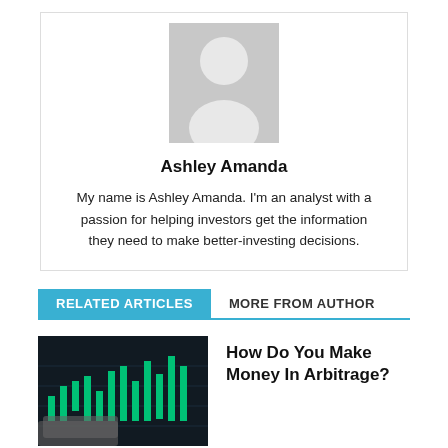[Figure (photo): Generic user avatar placeholder — gray silhouette of a person on a light gray background]
Ashley Amanda
My name is Ashley Amanda. I'm an analyst with a passion for helping investors get the information they need to make better-investing decisions.
RELATED ARTICLES
MORE FROM AUTHOR
[Figure (photo): Stock market chart showing green candlestick chart on dark background with cash bills in foreground]
How Do You Make Money In Arbitrage?
Steps to start in the Cryptoworld